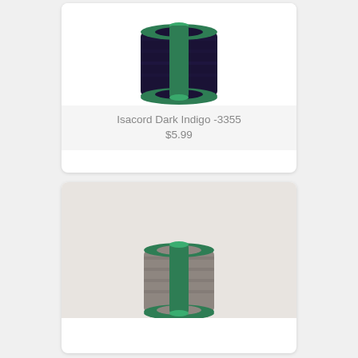[Figure (photo): Product card showing a spool of dark indigo embroidery thread (Isacord brand) on a green plastic spool, photographed on white background. Product name: Isacord Dark Indigo -3355. Price: $5.99.]
Isacord Dark Indigo -3355
$5.99
[Figure (photo): Product card showing a spool of gray/taupe embroidery thread on a green plastic spool, partially visible, photographed on a light gray background.]